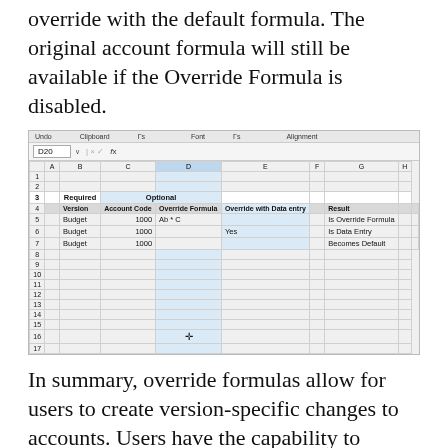override with the default formula. The original account formula will still be available if the Override Formula is disabled.
[Figure (screenshot): Microsoft Excel spreadsheet screenshot showing a grid with columns A-H and rows 1-17. Row 3 shows 'Required' spanning columns B and 'Optional' spanning columns C-D. Row 4 headers: Version, Account Code, Override Formula, Override with Data entry, Result. Row 5: Budget, 1000, Ab * C, , Is Override Formula. Row 6: Budget, 1000, , Yes, Is Data Entry. Row 7: Budget, 1000, , , Becomes Default. A move cursor icon appears in row 16 column D.]
In summary, override formulas allow for users to create version-specific changes to accounts. Users have the capability to